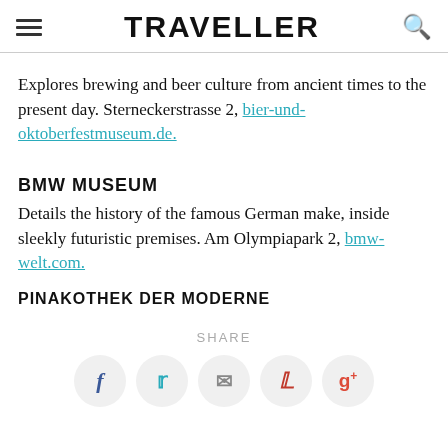TRAVELLER
Explores brewing and beer culture from ancient times to the present day. Sterneckerstrasse 2, bier-und-oktoberfestmuseum.de.
BMW MUSEUM
Details the history of the famous German make, inside sleekly futuristic premises. Am Olympiapark 2, bmw-welt.com.
PINAKOTHEK DER MODERNE
SHARE